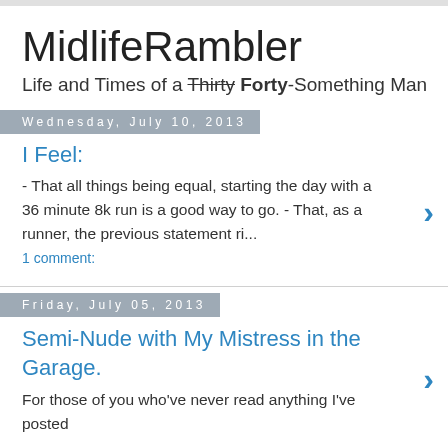MidlifeRambler
Life and Times of a Thirty Forty-Something Man
Wednesday, July 10, 2013
I Feel:
- That all things being equal, starting the day with a 36 minute 8k run is a good way to go. - That, as a runner, the previous statement ri...
1 comment:
Friday, July 05, 2013
Semi-Nude with My Mistress in the Garage.
For those of you who've never read anything I've posted